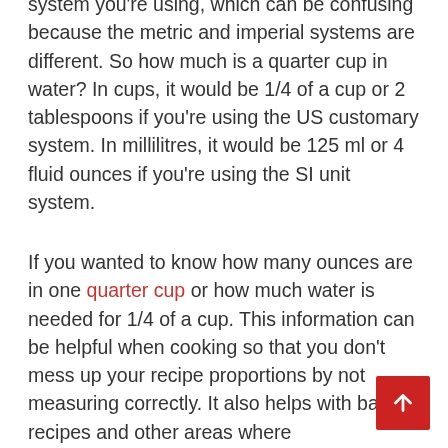system you're using, which can be confusing because the metric and imperial systems are different. So how much is a quarter cup in water? In cups, it would be 1/4 of a cup or 2 tablespoons if you're using the US customary system. In millilitres, it would be 125 ml or 4 fluid ounces if you're using the SI unit system.
If you wanted to know how many ounces are in one quarter cup or how much water is needed for 1/4 of a cup. This information can be helpful when cooking so that you don't mess up your recipe proportions by not measuring correctly. It also helps with baking recipes and other areas where measurements are important (i.e., science).